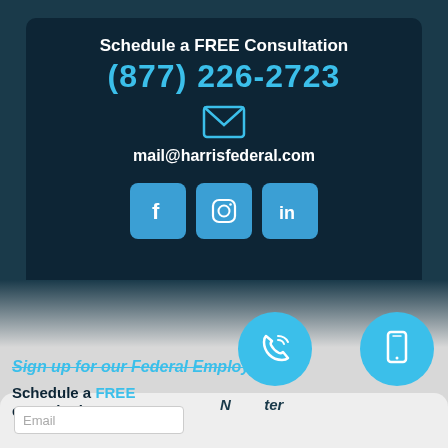Schedule a FREE Consultation
(877) 226-2723
[Figure (illustration): Email envelope icon in cyan outline style]
mail@harrisfederal.com
[Figure (illustration): Three social media icon buttons: Facebook (f), Instagram (camera), LinkedIn (in) — each on a blue rounded square]
Back to top
Sign up for our Federal Employee
Schedule a FREE consultation!
Newsletter
[Figure (illustration): Circular call icon button in cyan blue]
[Figure (illustration): Circular mobile phone icon button in cyan blue]
Email